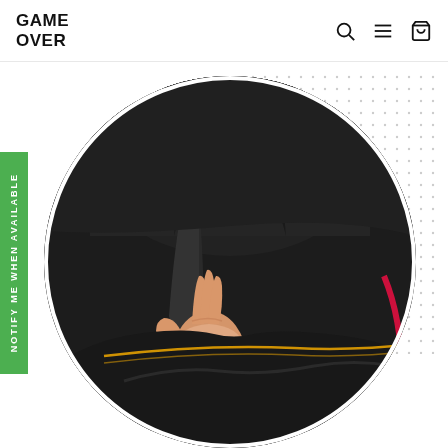GAME OVER (logo) with search, menu, and cart icons
[Figure (photo): A hand reaching into the side pocket of a black gaming chair with yellow and red trim, pulling out a blue Pepsi can. The image is cropped in a circular frame on a white background with a dotted pattern in the upper right.]
NOTIFY ME WHEN AVAILABLE